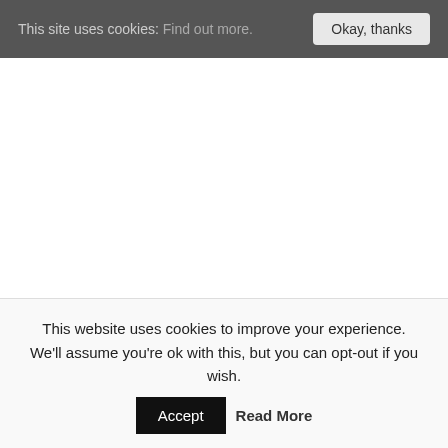This site uses cookies: Find out more. Okay, thanks
World
Free darts betting tips, preview and predictions for the Sky Sports-te...
This website uses cookies to improve your experience. We'll assume you're ok with this, but you can opt-out if you wish. Accept Read More